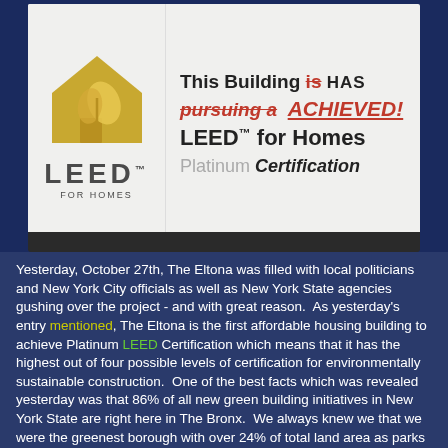[Figure (photo): Photo of a LEED for Homes sign. The sign has the LEED logo with a gold house and leaf icon on the left. The text on the right reads: 'This Building is HAS pursuing a ACHIEVED! LEED™ for Homes Platinum Certification' — with 'is' struck through, 'pursuing a' struck through in red, and 'HAS' and 'ACHIEVED!' handwritten corrections in red.]
Yesterday, October 27th, The Eltona was filled with local politicians and New York City officials as well as New York State agencies gushing over the project - and with great reason.  As yesterday's entry mentioned, The Eltona is the first affordable housing building to achieve Platinum LEED Certification which means that it has the highest out of four possible levels of certification for environmentally sustainable construction.  One of the best facts which was revealed yesterday was that 86% of all new green building initiatives in New York State are right here in The Bronx.  We always knew we that we were the greenest borough with over 24% of total land area as parks (Staten Island is a distant 2nd at 18% and Brooklyn...that borough were people spend vulgar amounts of money to live is only 9% parks - how sad) Oh and did I mention that The Bronx has